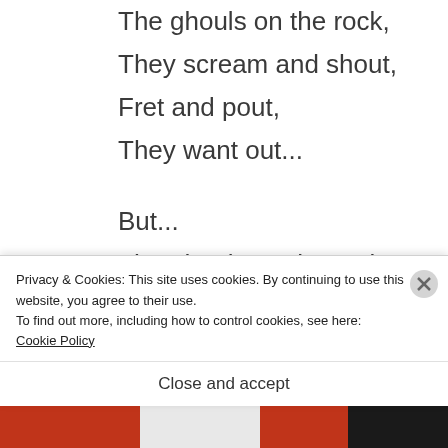The ghouls on the rock,
They scream and shout,
Fret and pout,
They want out...
But...
The ghouls on the rock,
They mustn't get out,
Can't let'm out,
Never get out.
Privacy & Cookies: This site uses cookies. By continuing to use this website, you agree to their use.
To find out more, including how to control cookies, see here:
Cookie Policy
Close and accept